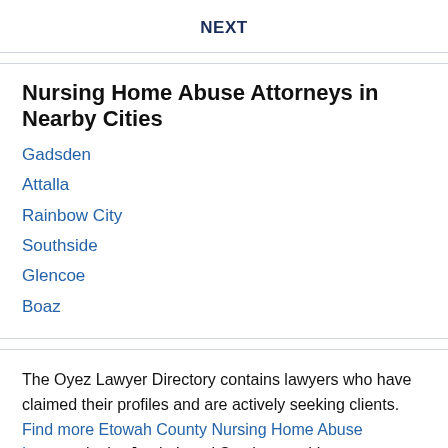NEXT
Nursing Home Abuse Attorneys in Nearby Cities
Gadsden
Attalla
Rainbow City
Southside
Glencoe
Boaz
The Oyez Lawyer Directory contains lawyers who have claimed their profiles and are actively seeking clients. Find more Etowah County Nursing Home Abuse Lawyers in the Justia Legal Services and Lawyers Directory which